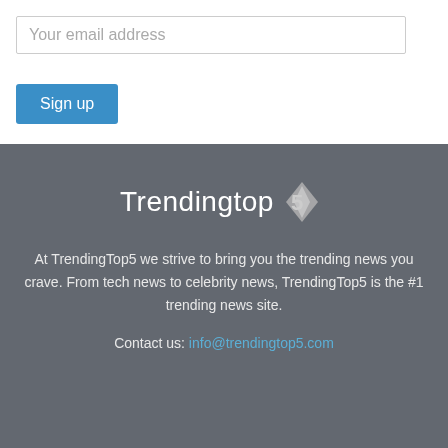Your email address
Sign up
[Figure (logo): TrendingTop5 logo with diamond/chevron icon in gray and white text on dark gray background]
At TrendingTop5 we strive to bring you the trending news you crave. From tech news to celebrity news, TrendingTop5 is the #1 trending news site.
Contact us: info@trendingtop5.com
About   Privacy Policy   Disclaimer   Contact Us